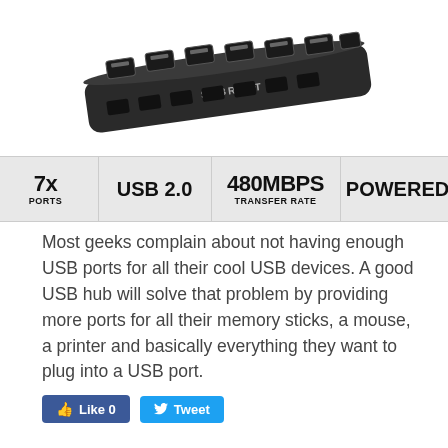[Figure (photo): Sabrent 7-port USB 2.0 hub device, black, with individual port switches, viewed from above at an angle]
[Figure (infographic): Product spec badges: 7x PORTS, USB 2.0, 480MBPS TRANSFER RATE, POWERED]
Most geeks complain about not having enough USB ports for all their cool USB devices. A good USB hub will solve that problem by providing more ports for all their memory sticks, a mouse, a printer and basically everything they want to plug into a USB port.
[Figure (infographic): Social media buttons: Like 0 (Facebook) and Tweet (Twitter)]